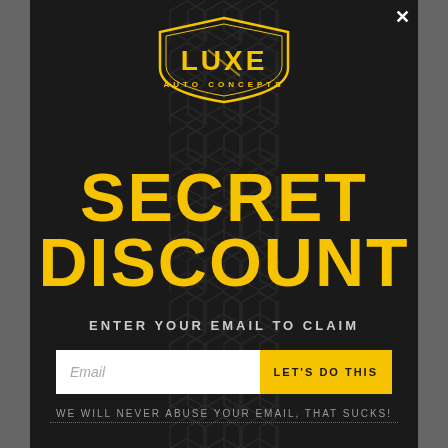[Figure (logo): Luxe Auto Concepts logo — gold shield/badge shape with LUXE text and AUTO CONCEPTS subtitle]
SECRET DISCOUNT
ENTER YOUR EMAIL TO CLAIM
Email
LET'S DO THIS
WE WILL NEVER ABUSE YOUR EMAIL, THAT SUCKS!